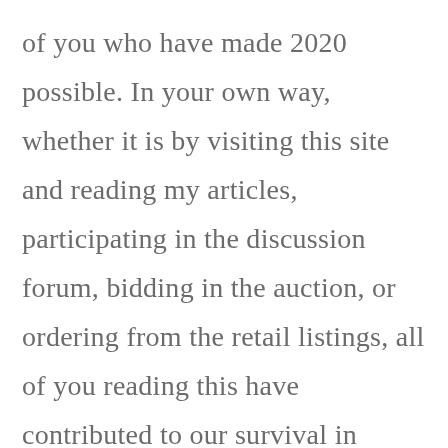of you who have made 2020 possible. In your own way, whether it is by visiting this site and reading my articles, participating in the discussion forum, bidding in the auction, or ordering from the retail listings, all of you reading this have contributed to our survival in